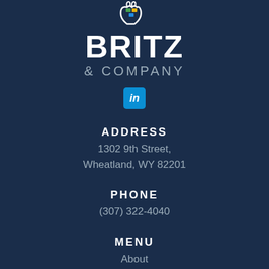[Figure (logo): Britz and Company logo with hands icon, large BRITZ text in white, and & COMPANY in gray below]
[Figure (logo): LinkedIn icon button in blue square with 'in' text]
ADDRESS
1302 9th Street,
Wheatland, WY 82201
PHONE
(307) 322-4040
MENU
About